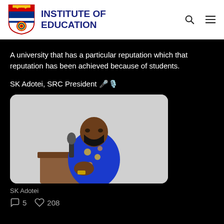INSTITUTE OF EDUCATION
A university that has a particular reputation which that reputation has been achieved because of students.
SK Adotei, SRC President 🎤
[Figure (photo): Photo of SK Adotei speaking at a podium, wearing a blue floral shirt and black face mask, holding a microphone]
SK Adotei
5 comments  208 likes